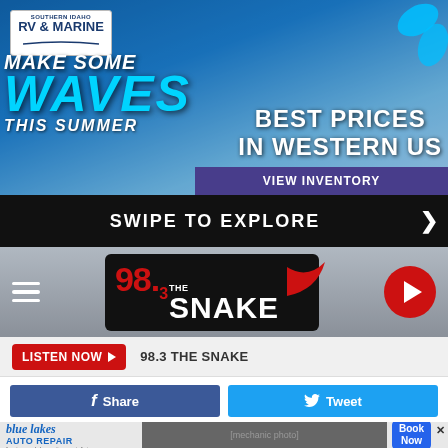[Figure (photo): Southern Idaho RV & Marine advertisement banner with sailing/boating imagery. Text reads 'MAKE SOME WAVES THIS SUMMER' and 'BEST PRICES IN WESTERN US' with a VIEW INVENTORY button.]
SWIPE TO EXPLORE
[Figure (logo): 98.3 The Snake radio station logo with hamburger menu icon and play button]
LISTEN NOW  98.3 THE SNAKE
Share   Tweet
and we'd been fighting this lawsuit with our old manager for
[Figure (photo): Blue Lakes Auto Repair advertisement with mechanic working under car and Book Now button]